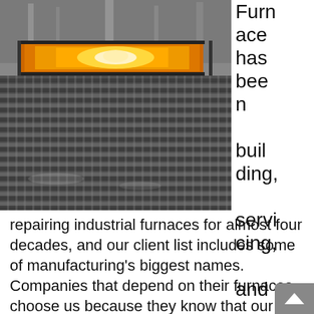[Figure (photo): Close-up photograph of an industrial furnace showing a glowing orange/yellow flame opening at the top and a dark metallic mesh/grate surface below, in black and white tones.]
Furnace has been building, servicing, and repairing industrial furnaces for almost four decades, and our client list includes some of manufacturing's biggest names. Companies that depend on their furnaces choose us because they know that our technicians are highly qualified and are dedicated to keeping their businesses running. If you would like to